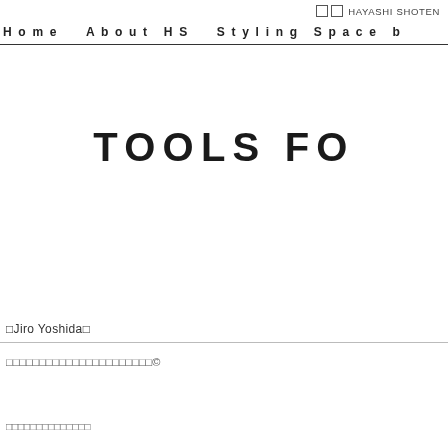□ □ HAYASHI SHOTEN
Home   About HS   Styling Space b
TOOLS FO
□Jiro Yoshida□
□□□□□□□□□□□□□□□□□□□□□□©
□□□□□□□□□□□□□□